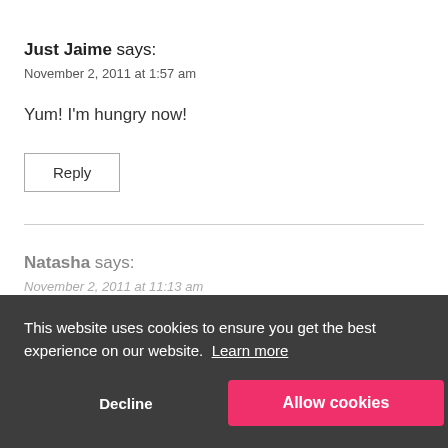Just Jaime says:
November 2, 2011 at 1:57 am
Yum! I'm hungry now!
Reply
Natasha says:
November 2, 2011 at 11:13 am
would love if you could stop by our link party – Serenity Saturday at
http://www.serenityyou.blogspot.com
This website uses cookies to ensure you get the best experience on our website. Learn more
Decline
Allow cookies